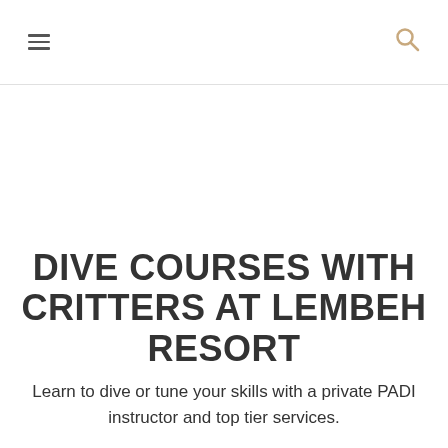≡  🔍
DIVE COURSES WITH CRITTERS AT LEMBEH RESORT
Learn to dive or tune your skills with a private PADI instructor and top tier services.